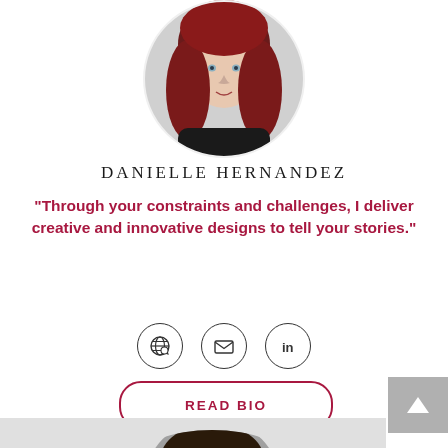[Figure (photo): Circular profile photo of Danielle Hernandez, a woman with long red hair and a black top, on a light background.]
DANIELLE HERNANDEZ
"Through your constraints and challenges, I deliver creative and innovative designs to tell your stories."
[Figure (infographic): Three circular icon buttons: globe/website icon, envelope/email icon, and LinkedIn icon.]
READ BIO
[Figure (photo): Partial circular profile photo of a second person with dark hair, visible at the bottom of the page.]